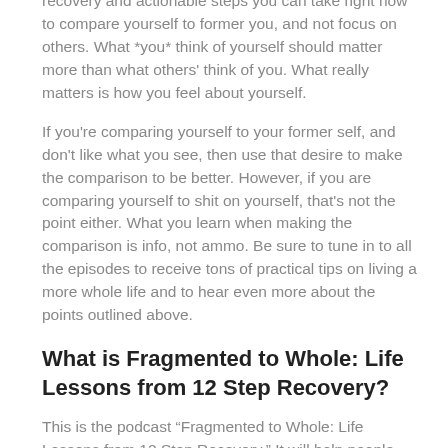recovery and actionable steps you can take right now to compare yourself to former you, and not focus on others. What *you* think of yourself should matter more than what others' think of you. What really matters is how you feel about yourself.
If you're comparing yourself to your former self, and don't like what you see, then use that desire to make the comparison to be better. However, if you are comparing yourself to shit on yourself, that's not the point either. What you learn when making the comparison is info, not ammo. Be sure to tune in to all the episodes to receive tons of practical tips on living a more whole life and to hear even more about the points outlined above.
What is Fragmented to Whole: Life Lessons from 12 Step Recovery?
This is the podcast “Fragmented to Whole: Life Lessons from 12 Step Recovery.” It will help people who want to heal to move from fragmented to whole.
Hi, I’m Barb! I share my experience, strength and hope from 12 step recovery in each episode. They’re all 20 minutes or less. Unlike most recovery podcasts where you hear a person’s whole